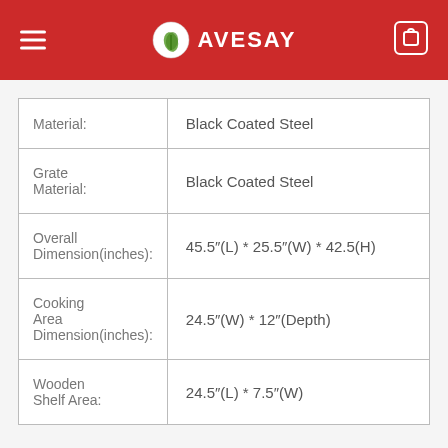AVESAY
| Attribute | Value |
| --- | --- |
| Material: | Black Coated Steel |
| Grate Material: | Black Coated Steel |
| Overall Dimension(inches): | 45.5"(L) * 25.5"(W) * 42.5(H) |
| Cooking Area Dimension(inches): | 24.5"(W) * 12"(Depth) |
| Wooden Shelf Area: | 24.5"(L) * 7.5"(W) |